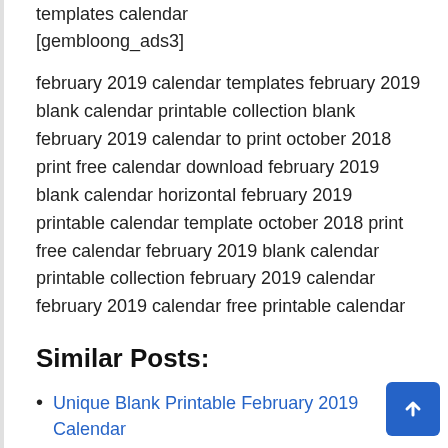templates calendar
[gembloong_ads3]
february 2019 calendar templates february 2019 blank calendar printable collection blank february 2019 calendar to print october 2018 print free calendar download february 2019 blank calendar horizontal february 2019 printable calendar template october 2018 print free calendar february 2019 blank calendar printable collection february 2019 calendar february 2019 calendar free printable calendar
Similar Posts:
Unique Blank Printable February 2019 Calendar
Lovely Printable Calendar October 2019